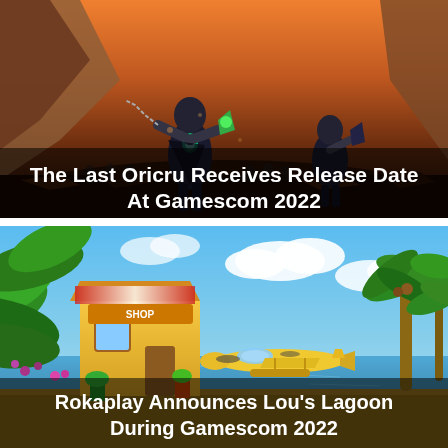[Figure (illustration): Dark fantasy video game screenshot showing armored characters in a ruined landscape with orange sky tones. Title overlay reads: The Last Oricru Receives Release Date At Gamescom 2022]
[Figure (illustration): Colorful tropical cartoon game screenshot showing a seaplane docked at a beach resort with palm trees, jungle foliage and blue sky. Title overlay reads: Rokaplay Announces Lou's Lagoon During Gamescom 2022]